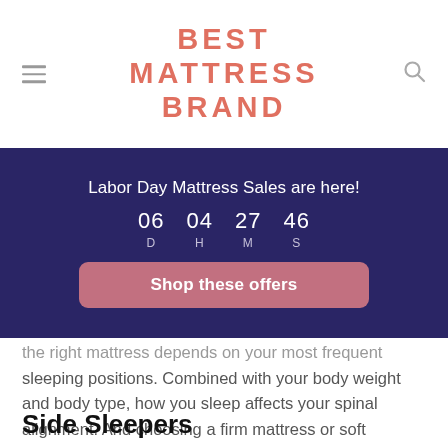BEST MATTRESS BRAND
[Figure (infographic): Dark blue promotional banner with countdown timer showing 06 D 04 H 27 M 46 S and a 'Shop these offers' button. Title: Labor Day Mattress Sales are here!]
the right mattress depends on your most frequent sleeping positions. Combined with your body weight and body type, how you sleep affects your spinal alignment. And choosing a firm mattress or soft mattress can impact your health.
Side Sleepers